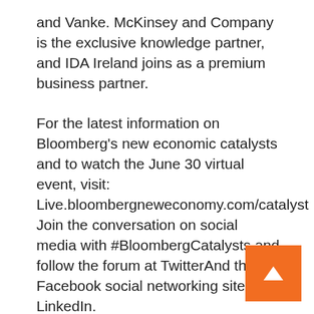and Vanke. McKinsey and Company is the exclusive knowledge partner, and IDA Ireland joins as a premium business partner.
For the latest information on Bloomberg's new economic catalysts and to watch the June 30 virtual event, visit: Live.bloombergneweconomy.com/catalyst Join the conversation on social media with #BloombergCatalysts and follow the forum at TwitterAnd the Facebook social networking site s LinkedIn.